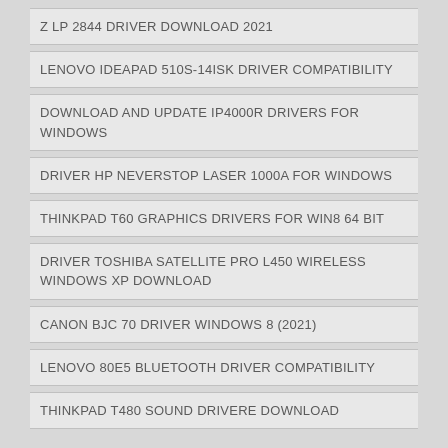Z LP 2844 DRIVER DOWNLOAD 2021
LENOVO IDEAPAD 510S-14ISK DRIVER COMPATIBILITY
DOWNLOAD AND UPDATE IP4000R DRIVERS FOR WINDOWS
DRIVER HP NEVERSTOP LASER 1000A FOR WINDOWS
THINKPAD T60 GRAPHICS DRIVERS FOR WIN8 64 BIT
DRIVER TOSHIBA SATELLITE PRO L450 WIRELESS WINDOWS XP DOWNLOAD
CANON BJC 70 DRIVER WINDOWS 8 (2021)
LENOVO 80E5 BLUETOOTH DRIVER COMPATIBILITY
THINKPAD T480 SOUND DRIVERE DOWNLOAD